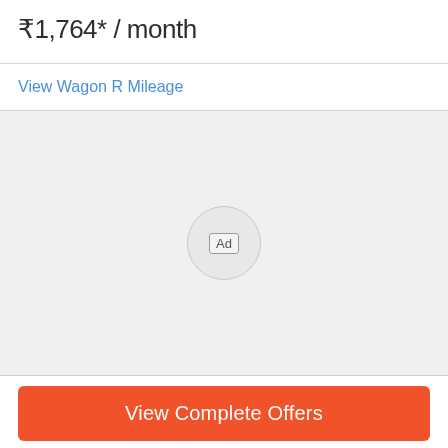₹1,764* / month
View Wagon R Mileage
[Figure (other): Advertisement placeholder area with a circular 'Ad' label in the center on a light grey background]
View Complete Offers